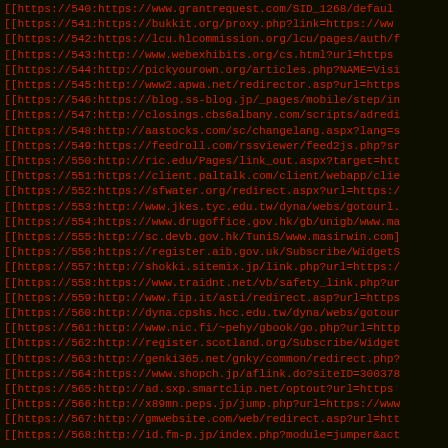[[https://540:https://www.grantrequest.com/SID_1268/default
[[https://541:https://bukkit.org/proxy.php?link=https://www
[[https://542:https://lcu.hlcommission.org/lcu/pages/auth/f
[[https://543:http://www.webexhibits.org/cs.html?url=https
[[https://544:http://pickyourown.org/articles.php?NAME=Visi
[[https://545:http://www2.apwa.net/redirector.asp?url=https
[[https://546:https://blog.ss-blog.jp/_pages/mobile/step/in
[[https://547:http://closings.cbs6albany.com/scripts/adredi
[[https://548:http://aastocks.com/sc/changelang.aspx?lang=s
[[https://549:https://feedroll.com/rssviewer/feed2js.php?sr
[[https://550:http://ric.edu/Pages/link_out.aspx?target=htt
[[https://551:https://client.paltalk.com/client/webapp/clie
[[https://552:https://sfwater.org/redirect.aspx?url=https:/
[[https://553:http://www.jkes.tyc.edu.tw/dyna/webs/gotourl.
[[https://554:https://www.drugoffice.gov.hk/gb/unigb/www.ma
[[https://555:http://sc.devb.gov.hk/TuniS/www.masirwin.com]
[[https://556:https://register.aib.gov.uk/Subscribe/WidgetS
[[https://557:http://shokki.sitemix.jp/link.php?url=https:/
[[https://558:https://www.traidnt.net/vb/safety_link.php?ur
[[https://559:http://www.fip.it/asti/redirect.asp?url=https
[[https://560:http://dyna.cpshs.hcc.edu.tw/dyna/webs/gotour
[[https://561:http://www.nic.fi/~pehy/gbook/go.php?url=http
[[https://562:http://register.scotland.org/Subscribe/Widget
[[https://563:http://genki365.net/gnky/common/redirect.php?
[[https://564:https://www.shopch.jp/aflink.do?siteID=300378
[[https://565:http://ad.sxp.smartclip.net/optout?url=https
[[https://566:http://x89mn.peps.jp/jump.php?url=https://www
[[https://567:http://gmwebsite.com/web/redirect.asp?url=htt
[[https://568:http://id.fm-p.jp/index.php?module=jumper&act